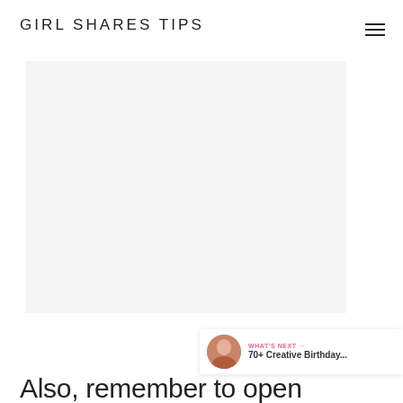GIRL SHARES TIPS
[Figure (screenshot): Navigation hamburger menu icon (three horizontal lines) in top right corner]
[Figure (photo): Large light gray placeholder image area]
[Figure (infographic): Pink heart button with count 16 and share button floating on right side]
[Figure (infographic): What's Next panel showing thumbnail photo and text: WHAT'S NEXT → 70+ Creative Birthday...]
Also, remember to open